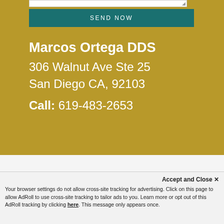[Figure (screenshot): Send Now button with teal background and white text, part of a contact form]
Marcos Ortega DDS
306 Walnut Ave Ste 25
San Diego CA, 92103
Call: 619-483-2653
Accept and Close ✕
Your browser settings do not allow cross-site tracking for advertising. Click on this page to allow AdRoll to use cross-site tracking to tailor ads to you. Learn more or opt out of this AdRoll tracking by clicking here. This message only appears once.